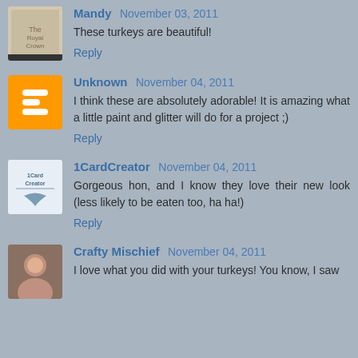Mandy November 03, 2011
These turkeys are beautiful!
Reply
Unknown November 04, 2011
I think these are absolutely adorable! It is amazing what a little paint and glitter will do for a project ;)
Reply
1CardCreator November 04, 2011
Gorgeous hon, and I know they love their new look (less likely to be eaten too, ha ha!)
Reply
Crafty Mischief November 04, 2011
I love what you did with your turkeys! You know, I saw